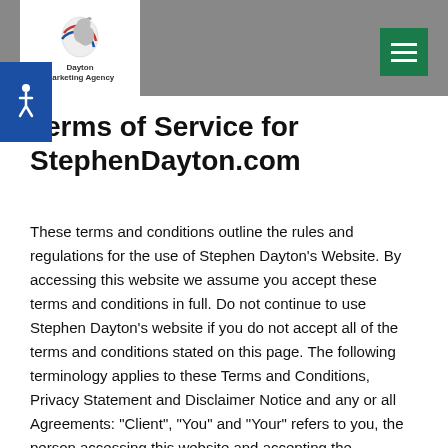Dayton Marketing Agency
Terms of Service for StephenDayton.com
These terms and conditions outline the rules and regulations for the use of Stephen Dayton’s Website. By accessing this website we assume you accept these terms and conditions in full. Do not continue to use Stephen Dayton’s website if you do not accept all of the terms and conditions stated on this page. The following terminology applies to these Terms and Conditions, Privacy Statement and Disclaimer Notice and any or all Agreements: “Client”, “You” and “Your” refers to you, the person accessing this website and accepting the Company’s terms and conditions. “The Company”, “Ourselves”, “We”, “Our” and “Us”, refers to our Company. “Party”, “Parties”, or “Us”,